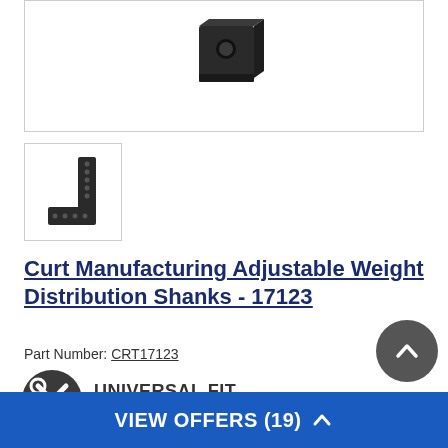[Figure (photo): Main product image of adjustable weight distribution shank - black metal component shown from top view]
[Figure (photo): Thumbnail product image of adjustable weight distribution shank - L-shaped black metal piece with holes shown from side]
Curt Manufacturing Adjustable Weight Distribution Shanks - 17123
Part Number: CRT17123
[Figure (logo): Universal Fit badge - dark circle with crossed wrench and screwdriver icon, text UNIVERSAL FIT Not Vehicle Specific]
VIEW OFFERS (19)